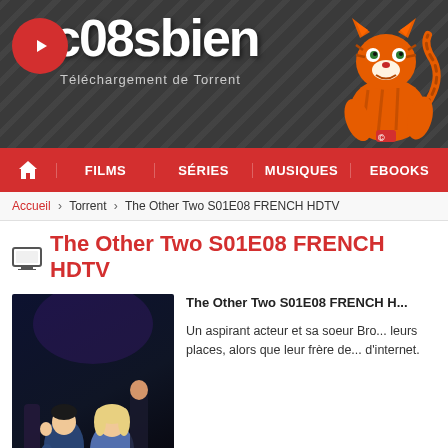[Figure (screenshot): Website header with logo 'c08sbien', tagline 'Téléchargement de Torrent', tiger mascot on dark grey striped background]
[Figure (screenshot): Red navigation bar with home icon, FILMS, SÉRIES, MUSIQUES, EBOOKS]
Accueil › Torrent › The Other Two S01E08 FRENCH HDTV
📺 The Other Two S01E08 FRENCH HDTV
[Figure (photo): TV show poster for 'The other two.' showing two people sitting, dark blue background, bold white text at bottom]
The Other Two S01E08 FRENCH H...
Un aspirant acteur et sa soeur Bro... leurs places, alors que leur frère de... d'internet.